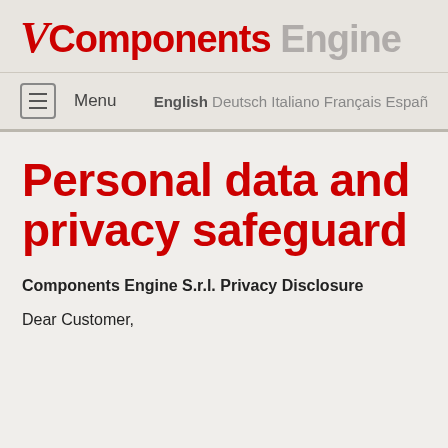V Components Engine
Menu  English Deutsch Italiano Français Español
Personal data and privacy safeguard
Components Engine S.r.l. Privacy Disclosure
Dear Customer,